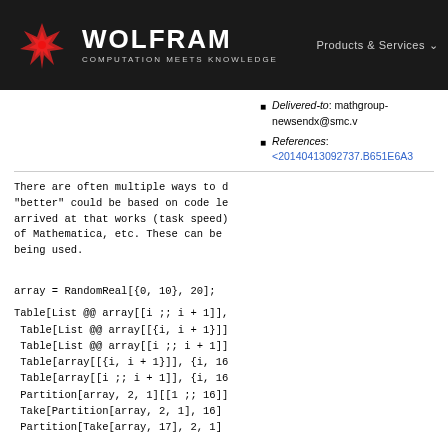[Figure (logo): Wolfram logo with red star icon, white WOLFRAM text, and tagline COMPUTATION MEETS KNOWLEDGE on dark background. Navigation text: Products & Services.]
Delivered-to: mathgroup-newsendx@smc.v
References: <20140413092737.B651E6A3...
There are often multiple ways to d
"better" could be based on code le
arrived at that works (task speed)
of Mathematica, etc. These can be
being used.
array = RandomReal[{0, 10}, 20];
Table[List @@ array[[i ;; i + 1]],
 Table[List @@ array[[{i, i + 1}]]
 Table[List @@ array[[i ;; i + 1]]
 Table[array[[{i, i + 1}]], {i, 16
 Table[array[[i ;; i + 1]], {i, 16
 Partition[array, 2, 1][[1 ;; 16]]
 Take[Partition[array, 2, 1], 16]
 Partition[Take[array, 17], 2, 1]